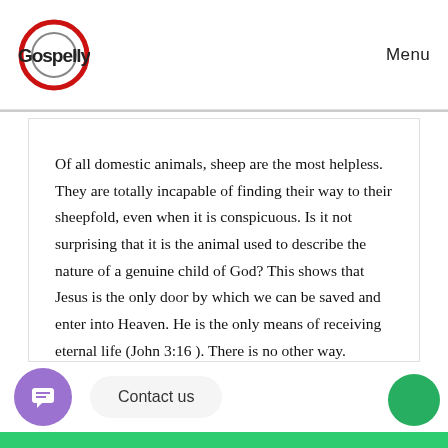Gospelly  Menu
Of all domestic animals, sheep are the most helpless. They are totally incapable of finding their way to their sheepfold, even when it is conspicuous. Is it not surprising that it is the animal used to describe the nature of a genuine child of God? This shows that Jesus is the only door by which we can be saved and enter into Heaven. He is the only means of receiving eternal life (John 3:16 ). There is no other way.
Contact us